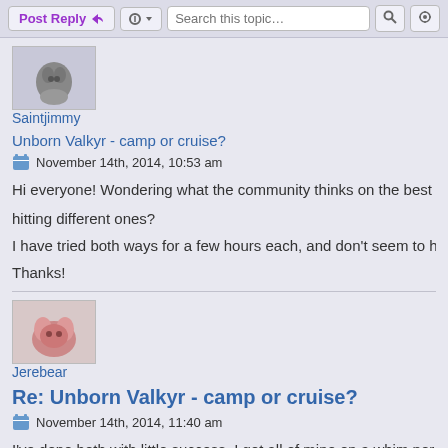Post Reply | Tools | Search this topic...
[Figure (photo): Avatar of user Saintjimmy - small character icon]
Saintjimmy
Unborn Valkyr - camp or cruise?
November 14th, 2014, 10:53 am
Hi everyone! Wondering what the community thinks on the best way to get hitting different ones?
I have tried both ways for a few hours each, and don't seem to have luck ei
Thanks!
[Figure (photo): Avatar of user Jerebear - pink creature icon]
Jerebear
Re: Unborn Valkyr - camp or cruise?
November 14th, 2014, 11:40 am
I've done both with little success. I got all of mine on a whim per say (3x fro
If you are gonna camp, you might consider camping the phased ones (Tho